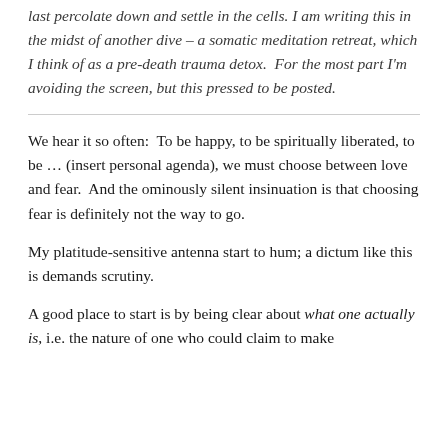last percolate down and settle in the cells.  I am writing this in the midst of another dive – a somatic meditation retreat, which I think of as a pre-death trauma detox.  For the most part I'm avoiding the screen, but this pressed to be posted.
We hear it so often:  To be happy, to be spiritually liberated, to be … (insert personal agenda), we must choose between love and fear.  And the ominously silent insinuation is that choosing fear is definitely not the way to go.
My platitude-sensitive antenna start to hum; a dictum like this is demands scrutiny.
A good place to start is by being clear about what one actually is, i.e. the nature of one who could claim to make